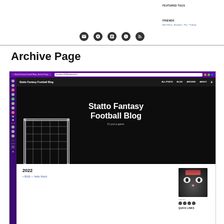FEATURED TAGS
FRIENDS
Alan Henry · Annalyse · Finn · Padraig
[Figure (screenshot): Screenshot of a blog website header with social media icon links: email, GitHub, LinkedIn, analytics, RSS feed]
Archive Page
[Figure (screenshot): Screenshot of Statto Fantasy Football Blog website showing browser chrome with purple theme, hero image with football goal posts, hero title 'Statto Fantasy Football Blog', subtitle 'It's just a game.', navigation links ALL POSTS BLOG ARCHIVE ABOUT, archive section showing year 2022 with post link '06/26 — Hello World', cat avatar image, social icons row, and QUICK LINKS label]